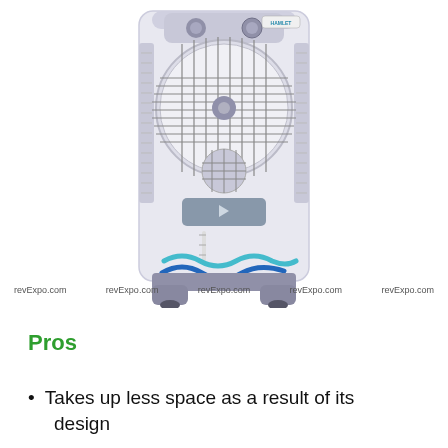[Figure (photo): White tower air cooler (desert cooler) with large circular front fan grille, gray plastic accents, blue wave logo at the bottom, water level indicator on the side, and rolling base with casters. Multiple 'revExpo.com' watermarks overlaid across the image.]
Pros
Takes up less space as a result of its design